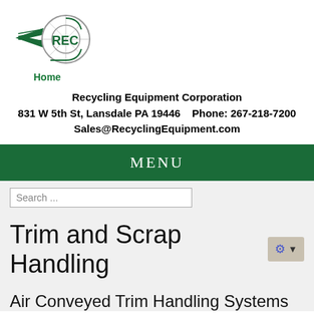[Figure (logo): REC (Recycling Equipment Corporation) logo with circular wheel graphic and green wings/arrows]
Home
Recycling Equipment Corporation
831 W 5th St, Lansdale PA 19446     Phone: 267-218-7200
Sales@RecyclingEquipment.com
MENU
Search ...
Trim and Scrap Handling
Air Conveyed Trim Handling Systems